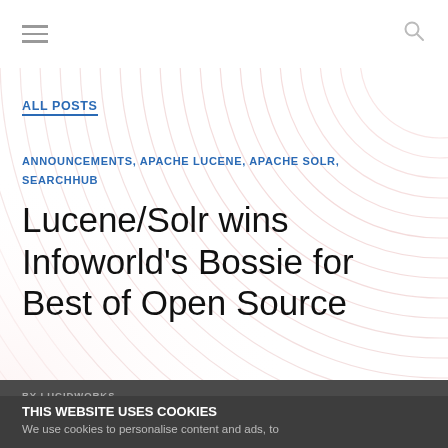≡  🔍
[Figure (illustration): Decorative background of concentric arc lines in pink/salmon tones radiating from upper right corner]
ALL POSTS
ANNOUNCEMENTS, APACHE LUCENE, APACHE SOLR, SEARCHHUB
Lucene/Solr wins Infoworld's Bossie for Best of Open Source
BY LUCIDWORKS
THIS WEBSITE USES COOKIES
We use cookies to personalise content and ads, to